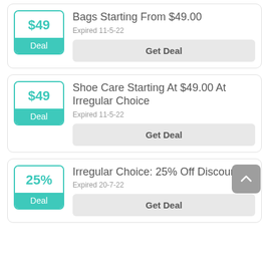Bags Starting From $49.00
Expired 11-5-22
Get Deal
Shoe Care Starting At $49.00 At Irregular Choice
Expired 11-5-22
Get Deal
Irregular Choice: 25% Off Discount
Expired 20-7-22
Get Deal